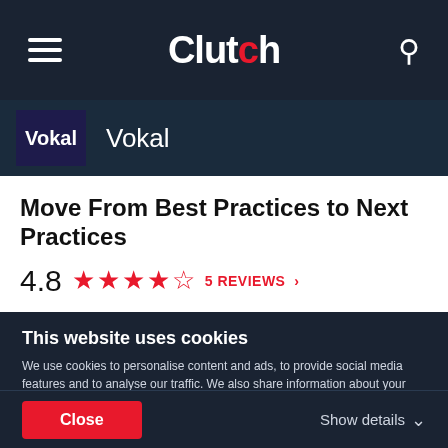Clutch
Vokal  Vokal
Move From Best Practices to Next Practices
4.8  ★★★★★  5 REVIEWS ›
We are a product growth consultancy. We measure and invest like a venture capitalist and design, build and optimize like a hyper growth start up. By focusing on optimizing for
This website uses cookies
We use cookies to personalise content and ads, to provide social media features and to analyse our traffic. We also share information about your use of our site with our social media, advertising and analytics partners who may combine it with other information that you've provided to them or that they've collected from your use of their services. You agree to our cookies if you continue to use our website.
Close   Show details ›